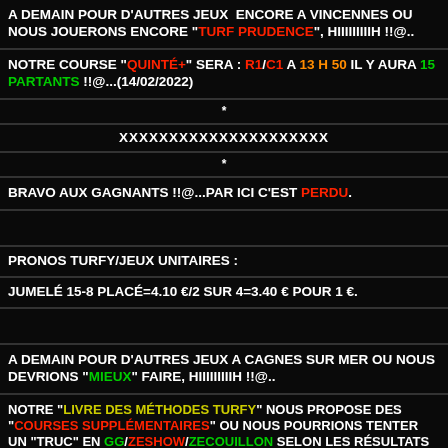A DEMAIN POUR D'AUTRES JEUX  ENCORE A VINCENNES OU NOUS JOUERONS ENCORE "TURF PRUDENCE", HIIIIIIIIIH !!@..
NOTRE COURSE "QUINTÉ+" SERA : R1/C1 A 13 H 50 IL Y AURA 15 PARTANTS !!@...(14/02/2022)
*
XXXXXXXXXXXXXXXXXXXXX
*
BRAVO AUX GAGNANTS !!@...PAR ICI C'EST PERDU.
PRONOS TURFY/JEUX UNITAIRES :
JUMELÉ 15-8 PLACÉ=4.10 €/2 SUR 4=3.40 € POUR 1 €.
A DEMAIN POUR D'AUTRES JEUX A CAGNES SUR MER OU NOUS DEVRIONS "MIEUX" FAIRE, HIIIIIIIIIH !!@..
NOTRE "LIVRE DES MÉTHODES TURFY" NOUS PROPOSE DES "COURSES SUPPLÉMENTAIRES" OU NOUS POURRIONS TENTER UN "TRUC" EN GG/ZESHOW/ZECOUILLON SELON LES RÉSULTATS EN COURSE "QUINTÉ+", HIIIIIIH !!@
NOTRE COURSE "QUINTÉ+" SERA : R1/C2 A 13 H 55 IL Y AURA 15